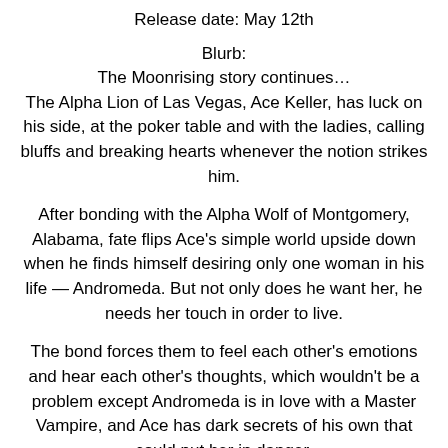Release date: May 12th
Blurb:
The Moonrising story continues…
The Alpha Lion of Las Vegas, Ace Keller, has luck on his side, at the poker table and with the ladies, calling bluffs and breaking hearts whenever the notion strikes him.
After bonding with the Alpha Wolf of Montgomery, Alabama, fate flips Ace's simple world upside down when he finds himself desiring only one woman in his life — Andromeda. But not only does he want her, he needs her touch in order to live.
The bond forces them to feel each other's emotions and hear each other's thoughts, which wouldn't be a problem except Andromeda is in love with a Master Vampire, and Ace has dark secrets of his own that could put her in danger.